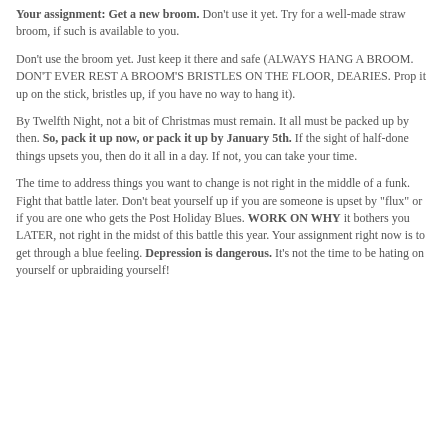Your assignment: Get a new broom. Don't use it yet. Try for a well-made straw broom, if such is available to you.
Don't use the broom yet. Just keep it there and safe (ALWAYS HANG A BROOM. DON'T EVER REST A BROOM'S BRISTLES ON THE FLOOR, DEARIES. Prop it up on the stick, bristles up, if you have no way to hang it).
By Twelfth Night, not a bit of Christmas must remain. It all must be packed up by then. So, pack it up now, or pack it up by January 5th. If the sight of half-done things upsets you, then do it all in a day. If not, you can take your time.
The time to address things you want to change is not right in the middle of a funk. Fight that battle later. Don't beat yourself up if you are someone is upset by "flux" or if you are one who gets the Post Holiday Blues. WORK ON WHY it bothers you LATER, not right in the midst of this battle this year. Your assignment right now is to get through a blue feeling. Depression is dangerous. It's not the time to be hating on yourself or upbraiding yourself!